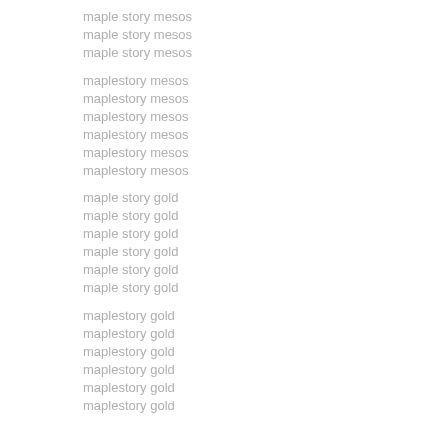maple story mesos
maple story mesos
maple story mesos
maplestory mesos
maplestory mesos
maplestory mesos
maplestory mesos
maplestory mesos
maplestory mesos
maple story gold
maple story gold
maple story gold
maple story gold
maple story gold
maple story gold
maplestory gold
maplestory gold
maplestory gold
maplestory gold
maplestory gold
maplestory gold